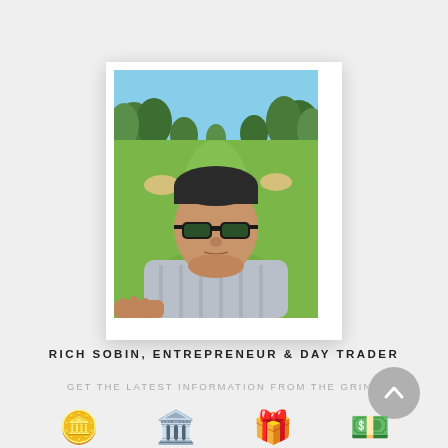[Figure (photo): Polaroid-style photo of a man wearing sunglasses taking a selfie on a golf course with green fairway and trees in the background]
RICH SOBIN, ENTREPRENEUR & DAY TRADER
GET THE LATEST INFORMATION FROM THE GRIND
[Figure (illustration): Row of emoji icons at the bottom: coin/money, bank building, food/gifts, cash/money]